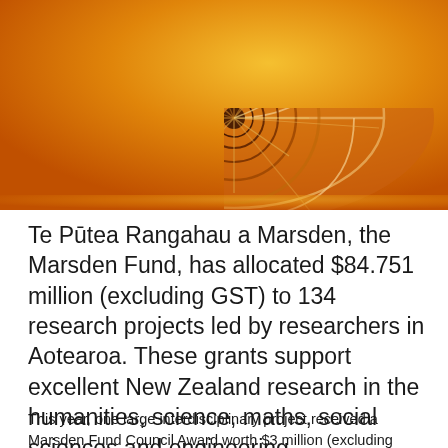[Figure (photo): A close-up photograph of a nautilus shell cross-section showing the spiral chambers, rendered with a warm orange/amber color overlay. The shell's intricate geometric spiral pattern is clearly visible against a golden-orange gradient background.]
Te Pūtea Rangahau a Marsden, the Marsden Fund, has allocated $84.751 million (excluding GST) to 134 research projects led by researchers in Aotearoa. These grants support excellent New Zealand research in the humanities, science, maths, social sciences and engineering
This year, one large interdisciplinary project received a Marsden Fund Council Award worth $3 million (excluding